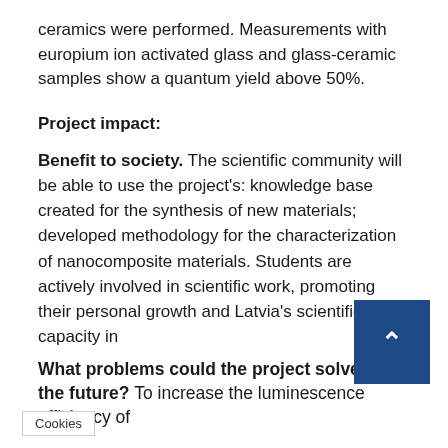ceramics were performed. Measurements with europium ion activated glass and glass-ceramic samples show a quantum yield above 50%.
Project impact:
Benefit to society. The scientific community will be able to use the project's: knowledge base created for the synthesis of new materials; developed methodology for the characterization of nanocomposite materials. Students are actively involved in scientific work, promoting their personal growth and Latvia's scientific capacity in
What problems could the project solve in the future?
To increase the luminescence efficiency of